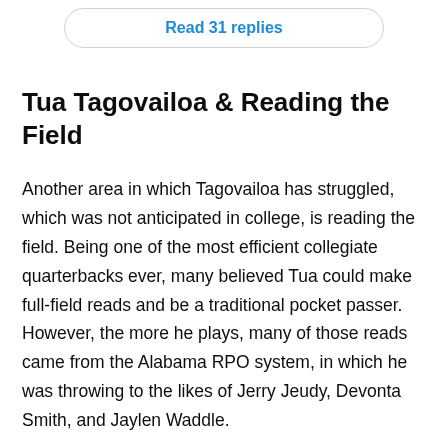Read 31 replies
Tua Tagovailoa & Reading the Field
Another area in which Tagovailoa has struggled, which was not anticipated in college, is reading the field. Being one of the most efficient collegiate quarterbacks ever, many believed Tua could make full-field reads and be a traditional pocket passer. However, the more he plays, many of those reads came from the Alabama RPO system, in which he was throwing to the likes of Jerry Jeudy, Devonta Smith, and Jaylen Waddle.